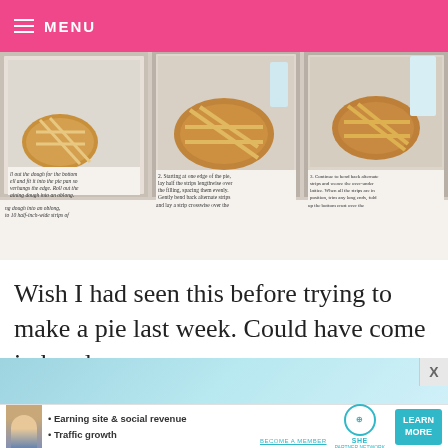MENU
[Figure (photo): Three-panel cookbook photo showing steps for making a lattice pie crust, with handwritten-style instructional text below each photo. Step 2: Starting at one edge of the pie, lay half the strips lengthwise over the filling, spacing them evenly. Gently bend back alternate strips and lay a strip crosswise over the. Step 3: Continue to bend back alternate strips and weave the over-under lattice. When all the strips are in position, trim any long ends, fold up the bottom crust over the.]
Wish I had seen this before trying to make a pie last week. Could have come in handy.
[Figure (infographic): Advertisement banner with teal gradient background, X close button, woman avatar, bullet points: Earning site & social revenue, Traffic growth. SHE Partner Network logo. LEARN MORE button. BECOME A MEMBER text.]